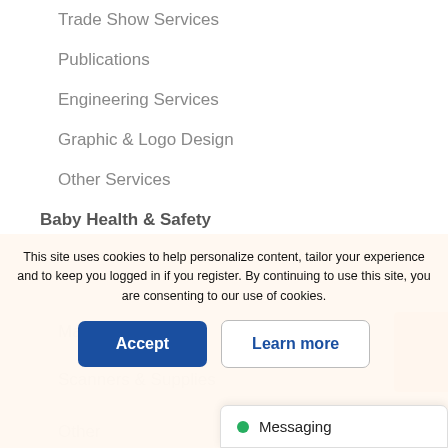Trade Show Services
Publications
Engineering Services
Graphic & Logo Design
Other Services
Baby Health & Safety
This site uses cookies to help personalize content, tailor your experience and to keep you logged in if you register. By continuing to use this site, you are consenting to our use of cookies.
Main Fr…
Scanners & Supplies
Other
Messaging